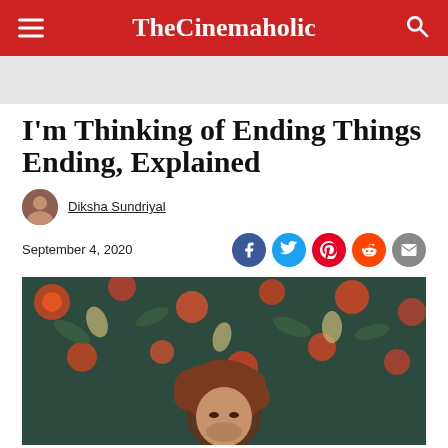TheCinemaholic
I'm Thinking of Ending Things Ending, Explained
Diksha Sundriyal
September 4, 2020
[Figure (photo): Person with curly reddish-brown hair in front of a floral wallpaper/tapestry background with orange and red flowers on a dark teal/green background]